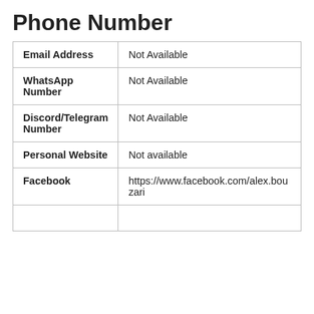Phone Number
| Email Address | Not Available |
| WhatsApp Number | Not Available |
| Discord/Telegram Number | Not Available |
| Personal Website | Not available |
| Facebook | https://www.facebook.com/alex.bouzari |